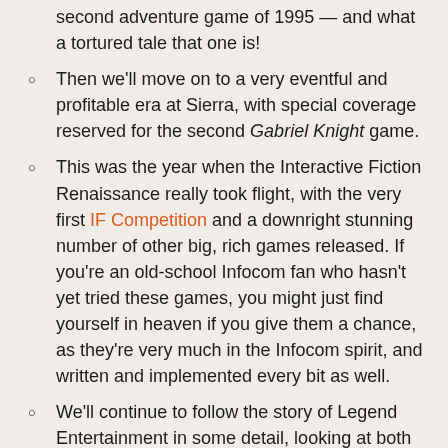second adventure game of 1995 — and what a tortured tale that one is!
Then we'll move on to a very eventful and profitable era at Sierra, with special coverage reserved for the second Gabriel Knight game.
This was the year when the Interactive Fiction Renaissance really took flight, with the very first IF Competition and a downright stunning number of other big, rich games released. If you're an old-school Infocom fan who hasn't yet tried these games, you might just find yourself in heaven if you give them a chance, as they're very much in the Infocom spirit, and written and implemented every bit as well.
We'll continue to follow the story of Legend Entertainment in some detail, looking at both of their 1995 releases.
We'll find time for The Dark Eye and I Have No